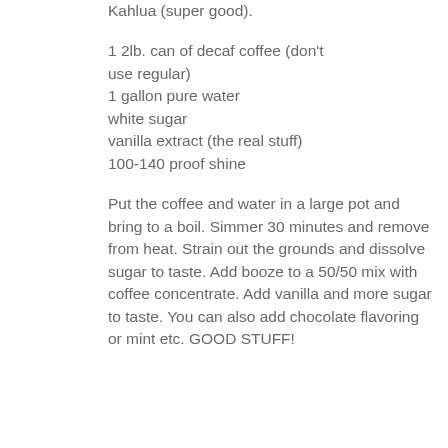Kahlua (super good).
1 2lb. can of decaf coffee (don't use regular)
1 gallon pure water
white sugar
vanilla extract (the real stuff)
100-140 proof shine
Put the coffee and water in a large pot and bring to a boil. Simmer 30 minutes and remove from heat. Strain out the grounds and dissolve sugar to taste. Add booze to a 50/50 mix with coffee concentrate. Add vanilla and more sugar to taste. You can also add chocolate flavoring or mint etc. GOOD STUFF!